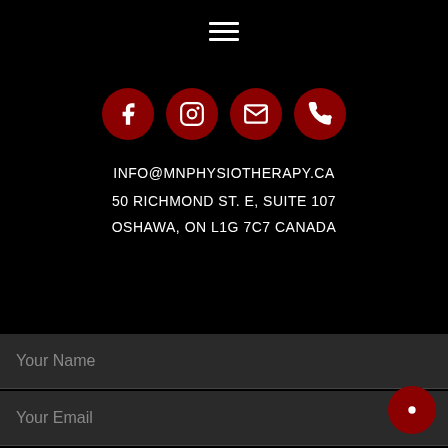[Figure (other): Hamburger menu icon (three horizontal white lines)]
[Figure (other): Four red circular social/contact icons: Facebook, Instagram, Email, Phone]
INFO@MNPHYSIOTHERAPY.CA
50 RICHMOND ST. E, SUITE 107
OSHAWA, ON L1G 7C7 CANADA
Your Name
Your Email